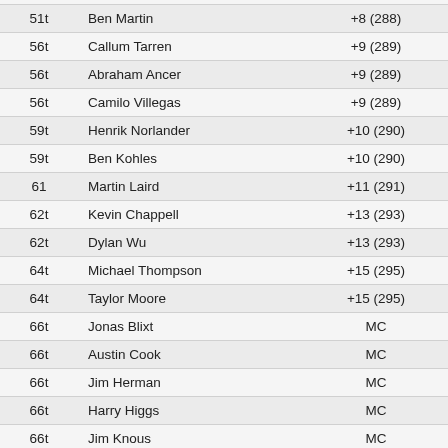| Pos | Player | Score | Status |
| --- | --- | --- | --- |
| 51t | Ben Martin | +8 (288) | F |
| 56t | Callum Tarren | +9 (289) | F |
| 56t | Abraham Ancer | +9 (289) | F |
| 56t | Camilo Villegas | +9 (289) | F |
| 59t | Henrik Norlander | +10 (290) | F |
| 59t | Ben Kohles | +10 (290) | F |
| 61 | Martin Laird | +11 (291) | F |
| 62t | Kevin Chappell | +13 (293) | F |
| 62t | Dylan Wu | +13 (293) | F |
| 64t | Michael Thompson | +15 (295) | F |
| 64t | Taylor Moore | +15 (295) | F |
| 66t | Jonas Blixt | MC | - |
| 66t | Austin Cook | MC | - |
| 66t | Jim Herman | MC | - |
| 66t | Harry Higgs | MC | - |
| 66t | Jim Knous | MC | - |